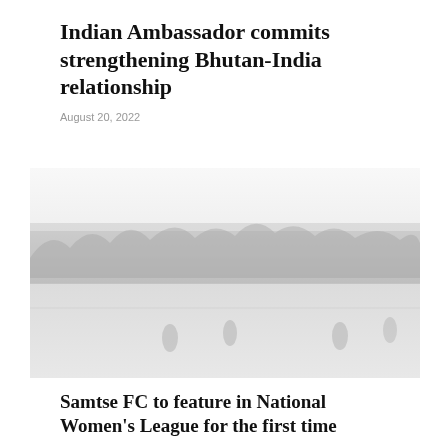Indian Ambassador commits strengthening Bhutan-India relationship
August 20, 2022
[Figure (photo): A faded/washed-out outdoor photo showing a sports field with people playing, trees and buildings visible in the misty background]
Samtse FC to feature in National Women's League for the first time